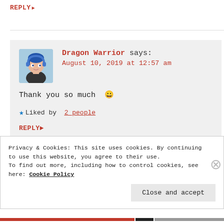REPLY ▶
Dragon Warrior says:
August 10, 2019 at 12:57 am
Thank you so much 😀
★ Liked by 2 people
REPLY ▶
Privacy & Cookies: This site uses cookies. By continuing to use this website, you agree to their use. To find out more, including how to control cookies, see here: Cookie Policy
Close and accept